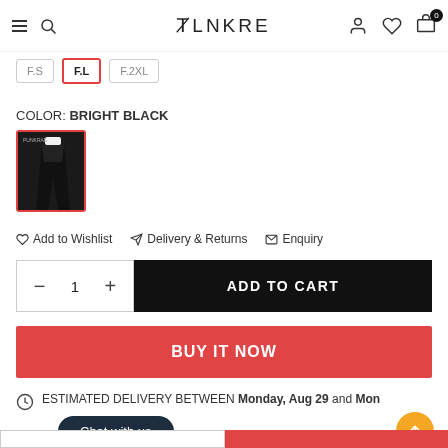PunkRae – navigation bar with hamburger menu, search, logo, account, wishlist, cart (0)
F.S
F.L (selected)
F.2XL
COLOR: BRIGHT BLACK
[Figure (photo): Product swatch thumbnail of black flare pants]
Add to Wishlist   Delivery & Returns   Enquiry
− 1 +  ADD TO CART
BUY IT NOW
ESTIMATED DELIVERY BETWEEN Monday, Aug 29 and Mon...
Chat with us